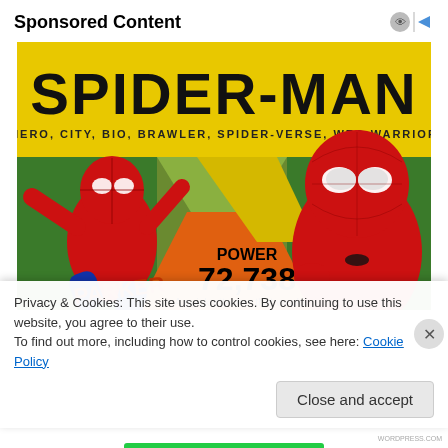Sponsored Content
[Figure (illustration): Spider-Man promotional advertisement banner. Yellow background with large black bold text 'SPIDER-MAN' at top, subtitle 'HERO, CITY, BIO, BRAWLER, SPIDER-VERSE, WEB-WARRIOR'. Shows two Spider-Man character illustrations: animated comic-style Spider-Man on the left in action pose, photorealistic Spider-Man on the right. Center shows 'POWER 72,738' and text 'A quick attacker that weakens'. Bottom left shows 'PARKER' text.]
Privacy & Cookies: This site uses cookies. By continuing to use this website, you agree to their use.
To find out more, including how to control cookies, see here: Cookie Policy